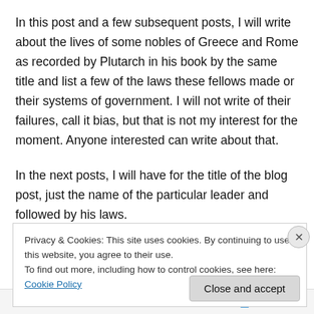In this post and a few subsequent posts, I will write about the lives of some nobles of Greece and Rome as recorded by Plutarch in his book by the same title and list a few of the laws these fellows made or their systems of government. I will not write of their failures, call it bias, but that is not my interest for the moment. Anyone interested can write about that.
In the next posts, I will have for the title of the blog post, just the name of the particular leader and followed by his laws.
Privacy & Cookies: This site uses cookies. By continuing to use this website, you agree to their use.
To find out more, including how to control cookies, see here: Cookie Policy